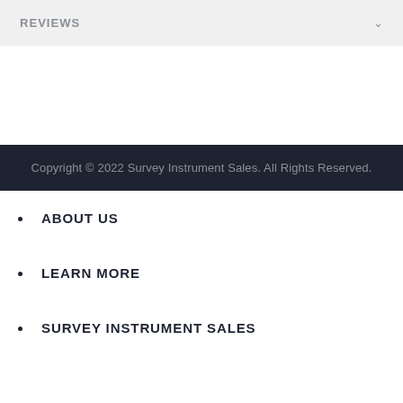REVIEWS
Copyright © 2022 Survey Instrument Sales. All Rights Reserved.
ABOUT US
LEARN MORE
SURVEY INSTRUMENT SALES